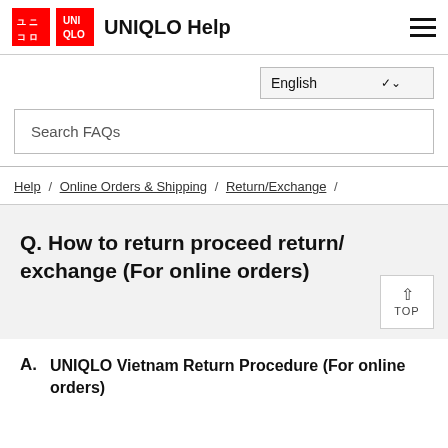UNIQLO Help
English
Search FAQs
Help / Online Orders & Shipping / Return/Exchange /
Q. How to return proceed return/ exchange (For online orders)
A. UNIQLO Vietnam Return Procedure (For online orders)